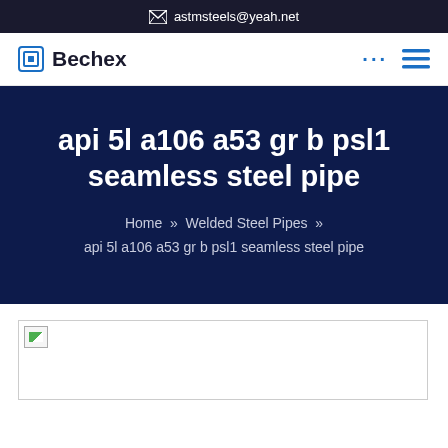astmsteels@yeah.net
Bechex
api 5l a106 a53 gr b psl1 seamless steel pipe
Home » Welded Steel Pipes » api 5l a106 a53 gr b psl1 seamless steel pipe
[Figure (photo): Product image placeholder for api 5l a106 a53 gr b psl1 seamless steel pipe]